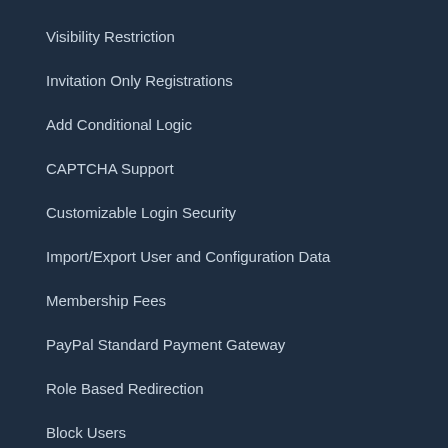Visibility Restriction
Invitation Only Registrations
Add Conditional Logic
CAPTCHA Support
Customizable Login Security
Import/Export User and Configuration Data
Membership Fees
PayPal Standard Payment Gateway
Role Based Redirection
Block Users
Advanced Fields
Restrict Widgets